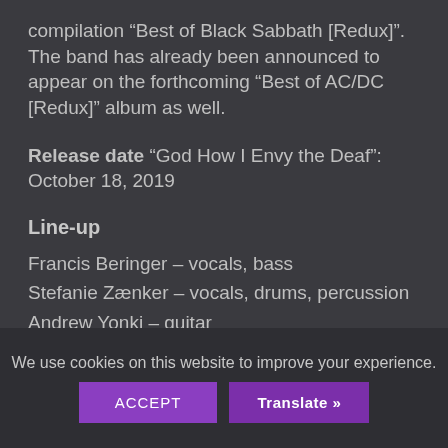compilation “Best of Black Sabbath [Redux]”. The band has already been announced to appear on the forthcoming “Best of AC/DC [Redux]” album as well.
Release date “God How I Envy the Deaf”: October 18, 2019
Line-up
Francis Beringer – vocals, bass
Stefanie Zænker – vocals, drums, percussion
Andrew Yonki – guitar
Jake Kimberley – guitar
Style: Stoned Psych Sludge
We use cookies on this website to improve your experience.
ACCEPT
Translate »